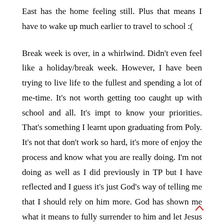East has the home feeling still. Plus that means I have to wake up much earlier to travel to school :(
Break week is over, in a whirlwind. Didn't even feel like a holiday/break week. However, I have been trying to live life to the fullest and spending a lot of me-time. It's not worth getting too caught up with school and all. It's impt to know your priorities. That's something I learnt upon graduating from Poly. It's not that don't work so hard, it's more of enjoy the process and know what you are really doing. I'm not doing as well as I did previously in TP but I have reflected and I guess it's just God's way of telling me that I should rely on him more. God has shown me what it means to fully surrender to him and let Jesus take the wheel. Previously, I trust in God for sure, but most of the time, it's only after the thing has happen then I credit God. However, now, because I'm in quite a helpless stage, so it makes me want to rely on God more. Well, no rainbows appear without the rain. God's testings, indeed tested my faith. Undoubtedly, & I really